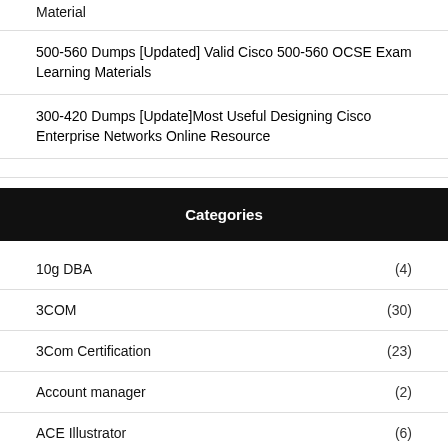Material
500-560 Dumps [Updated] Valid Cisco 500-560 OCSE Exam Learning Materials
300-420 Dumps [Update]Most Useful Designing Cisco Enterprise Networks Online Resource
Categories
10g DBA (4)
3COM (30)
3Com Certification (23)
Account manager (2)
ACE Illustrator (6)
ACE: AEM 6 Architect (2)